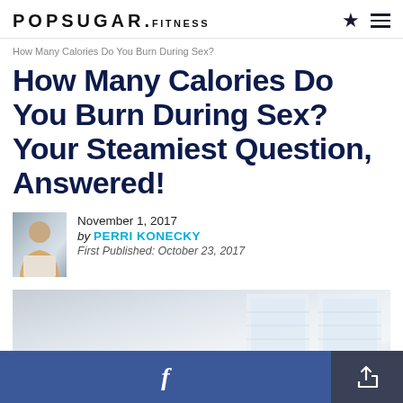POPSUGAR.FITNESS
How Many Calories Do You Burn During Sex?
How Many Calories Do You Burn During Sex? Your Steamiest Question, Answered!
November 1, 2017
by PERRI KONECKY
First Published: October 23, 2017
[Figure (photo): Article header photo showing a bright indoor room with natural light through windows]
[Figure (other): Bottom action bar with Facebook share button and share icon button]